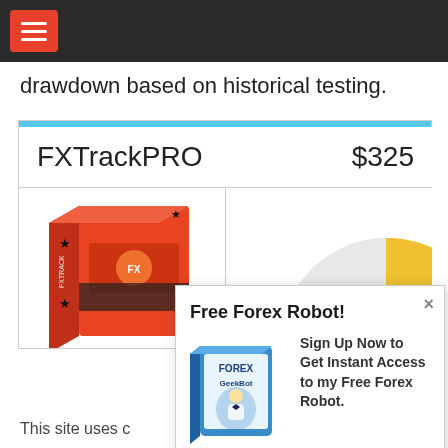drawdown based on historical testing.
| Product | Price |
| --- | --- |
| FXTrackPRO | $325 |
[Figure (photo): FXTrackPRO orange software box product image]
[Figure (pie-chart): Partial pie chart showing yellow/gold slice on white/grey background]
[Figure (photo): Blue Forex GeekBot software box with man in tuxedo]
Free Forex Robot!
Sign Up Now to Get Instant Access to my Free Forex Robot.
Download Now
This site uses c